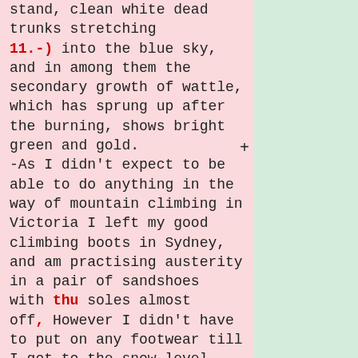stand, clean white dead trunks stretching 11.-) into the blue sky, and in among them the secondary growth of wattle, which has sprung up after the burning, shows bright green and gold. -As I didn't expect to be able to do anything in the way of mountain climbing in Victoria I left my good climbing boots in Sydney, and am practising austerity in a pair of sandshoes with thu soles almost off, However I didn't have to put on any footwear till I got to the snow level, then about half-amile of running over the snow